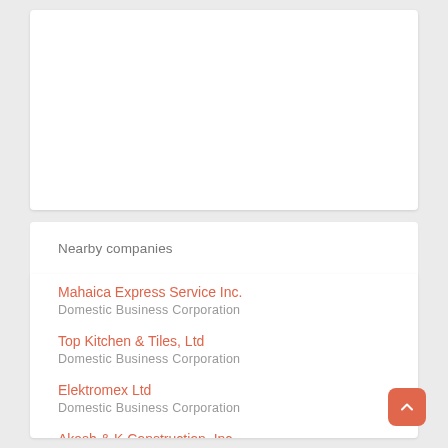Nearby companies
Mahaica Express Service Inc.
Domestic Business Corporation
Top Kitchen & Tiles, Ltd
Domestic Business Corporation
Elektromex Ltd
Domestic Business Corporation
Akash & K Construction, Inc.
Domestic Business Corporation
La Dama's Cookies, Corp.
Domestic Business Corporation